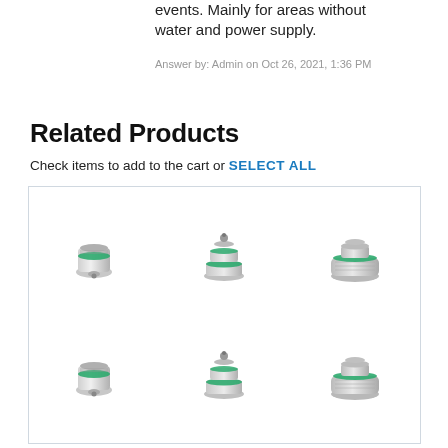events. Mainly for areas without water and power supply.
Answer by: Admin on Oct 26, 2021, 1:36 PM
Related Products
Check items to add to the cart or SELECT ALL
[Figure (photo): Six spray nozzle fittings arranged in a 3x2 grid inside a bordered product card. Each nozzle is a small metallic connector with a green rubber ring/gasket, shown from slightly different angles. Top row: flat-top connector, tiered cone nozzle, wide-base nozzle. Bottom row: same three types repeated.]